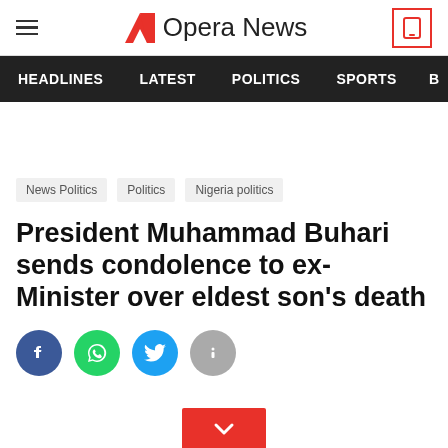Opera News
HEADLINES  LATEST  POLITICS  SPORTS
News Politics  Politics  Nigeria politics
President Muhammad Buhari sends condolence to ex-Minister over eldest son's death
[Figure (infographic): Social sharing icons: Facebook (blue), WhatsApp (green), Twitter (light blue), Info (gray)]
[Figure (other): Red button with downward chevron/arrow]